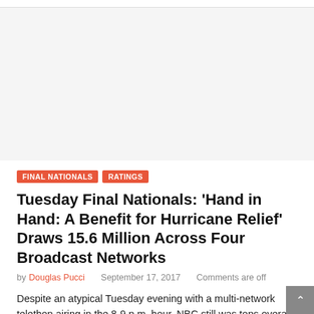[Figure (other): Advertisement / blank area at top of page]
FINAL NATIONALS   RATINGS
Tuesday Final Nationals: ‘Hand in Hand: A Benefit for Hurricane Relief’ Draws 15.6 Million Across Four Broadcast Networks
by Douglas Pucci   September 17, 2017   Comments are off
Despite an atypical Tuesday evening with a multi-network telethon airing in the 8-9 p.m. hour, NBC still was tops overall with “America’s Got Talent”. NBC was also the top network that carried the “Hand in Hand: A Benefit for Hurricane Relief”, followed by CBS, then ABC and Fox ... a combined 15.64 million viewers on [...]